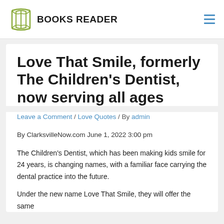BOOKS READER
Love That Smile, formerly The Children's Dentist, now serving all ages
Leave a Comment / Love Quotes / By admin
By ClarksvilleNow.com June 1, 2022 3:00 pm
The Children's Dentist, which has been making kids smile for 24 years, is changing names, with a familiar face carrying the dental practice into the future.
Under the new name Love That Smile, they will offer the same